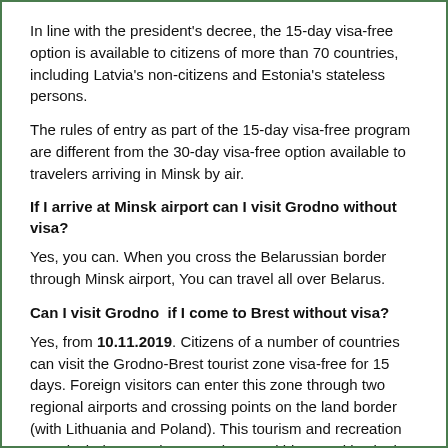In line with the president's decree, the 15-day visa-free option is available to citizens of more than 70 countries, including Latvia's non-citizens and Estonia's stateless persons.
The rules of entry as part of the 15-day visa-free program are different from the 30-day visa-free option available to travelers arriving in Minsk by air.
If I arrive at Minsk airport can I visit Grodno without visa?
Yes, you can. When you cross the Belarussian border through Minsk airport, You can travel all over Belarus.
Can I visit Grodno  if I come to Brest without visa?
Yes, from 10.11.2019. Citizens of a number of countries can visit the Grodno-Brest tourist zone visa-free for 15 days. Foreign visitors can enter this zone through two regional airports and crossing points on the land border (with Lithuania and Poland). This tourism and recreation zone includes popular attractions and biggest cities in the western part of the country, including:
in Brest Region – the city of Brest, Brest District, Zhabinka District, Kamenets District and Pruzhany